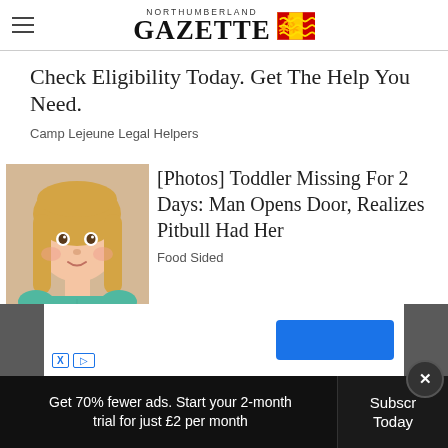NORTHUMBERLAND GAZETTE
Check Eligibility Today. Get The Help You Need.
Camp Lejeune Legal Helpers
[Figure (photo): Photo of a young blonde toddler girl in a teal shirt]
[Photos] Toddler Missing For 2 Days: Man Opens Door, Realizes Pitbull Had Her
Food Sided
[Figure (other): Advertisement banner with blue button, X and play controls]
Get 70% fewer ads. Start your 2-month trial for just £2 per month
Subscr Today